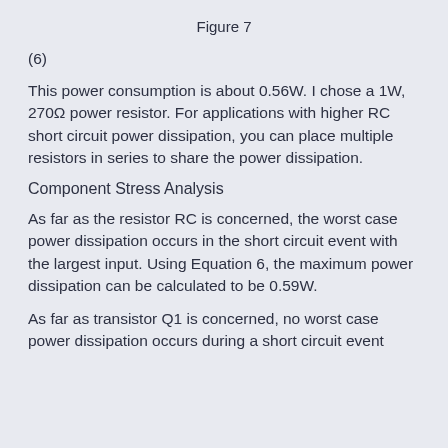Figure 7
(6)
This power consumption is about 0.56W. I chose a 1W, 270Ω power resistor. For applications with higher RC short circuit power dissipation, you can place multiple resistors in series to share the power dissipation.
Component Stress Analysis
As far as the resistor RC is concerned, the worst case power dissipation occurs in the short circuit event with the largest input. Using Equation 6, the maximum power dissipation can be calculated to be 0.59W.
As far as transistor Q1 is concerned, no worst case power dissipation occurs during a short circuit event